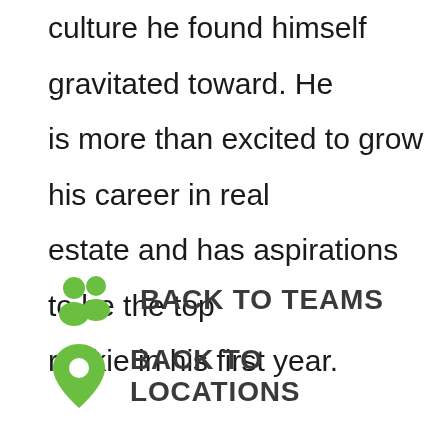culture he found himself gravitated toward. He is more than excited to grow his career in real estate and has aspirations to be the top rookie in his first year.
BACK TO TEAMS
BACK TO LOCATIONS